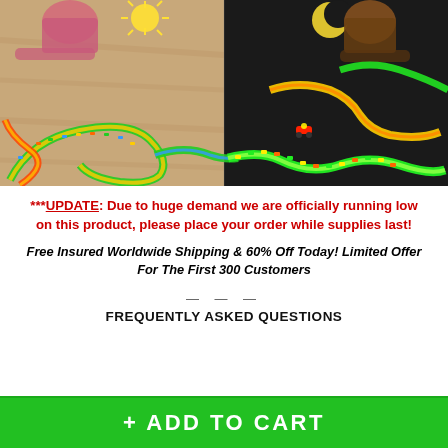[Figure (photo): Two children playing with a colorful glow-in-the-dark flexible track toy. Left half shows daytime view with bright multicolored track pieces on a wood floor; right half shows darkened view with track glowing in green, yellow, orange, red colors with a small toy car.]
***UPDATE: Due to huge demand we are officially running low on this product, please place your order while supplies last!
Free Insured Worldwide Shipping & 60% Off Today! Limited Offer For The First 300 Customers
— — — FREQUENTLY ASKED QUESTIONS
+ ADD TO CART